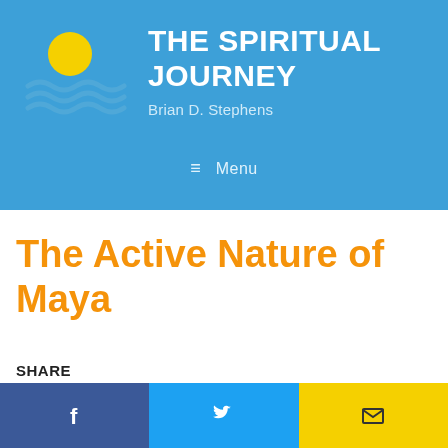THE SPIRITUAL JOURNEY — Brian D. Stephens
The Active Nature of Maya
SHARE